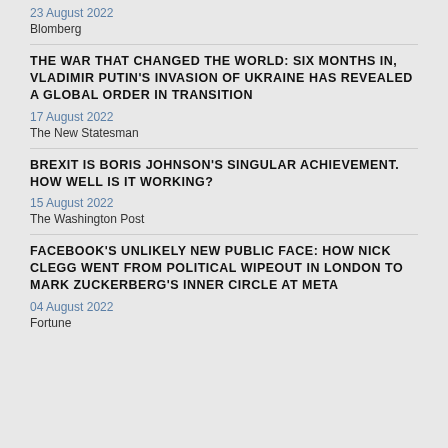23 August 2022
Blomberg
THE WAR THAT CHANGED THE WORLD: SIX MONTHS IN, VLADIMIR PUTIN'S INVASION OF UKRAINE HAS REVEALED A GLOBAL ORDER IN TRANSITION
17 August 2022
The New Statesman
BREXIT IS BORIS JOHNSON'S SINGULAR ACHIEVEMENT. HOW WELL IS IT WORKING?
15 August 2022
The Washington Post
FACEBOOK'S UNLIKELY NEW PUBLIC FACE: HOW NICK CLEGG WENT FROM POLITICAL WIPEOUT IN LONDON TO MARK ZUCKERBERG'S INNER CIRCLE AT META
04 August 2022
Fortune